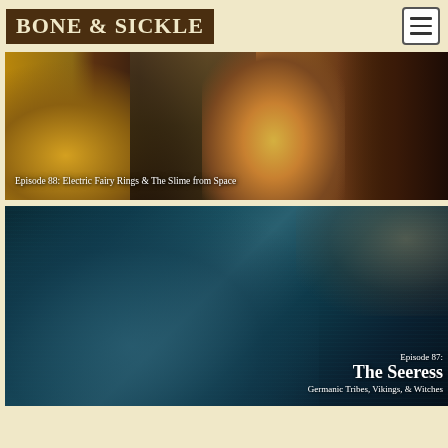BONE & SICKLE
[Figure (illustration): Episode 88 podcast artwork showing glowing golden mushrooms on the left, a Victorian-era portrait photo of a man with a mustache in the center, a luminous fairy figure in center-right, and dark fantastical imagery on the right. White text overlay reads: Episode 88: Electric Fairy Rings & The Slime from Space]
[Figure (illustration): Episode 87 podcast artwork showing a large stone-carved ancient face in teal-blue tones dominating the center-left, with a smaller fairy nymph figure at upper right. White text overlay reads: Episode 87: The Seeress / Germanic Tribes, Vikings, & Witches]